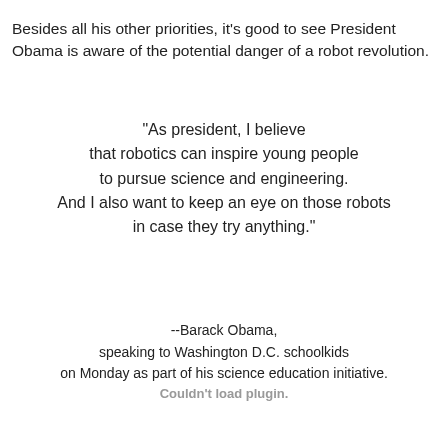Besides all his other priorities, it's good to see President Obama is aware of the potential danger of a robot revolution.
"As president, I believe that robotics can inspire young people to pursue science and engineering. And I also want to keep an eye on those robots in case they try anything."
--Barack Obama,
speaking to Washington D.C. schoolkids
on Monday as part of his science education initiative.
Couldn't load plugin.